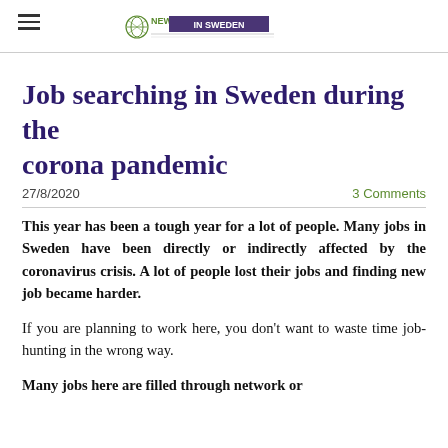NEW IN SWEDEN
Job searching in Sweden during the corona pandemic
27/8/2020    3 Comments
This year has been a tough year for a lot of people. Many jobs in Sweden have been directly or indirectly affected by the coronavirus crisis. A lot of people lost their jobs and finding new job became harder.
If you are planning to work here, you don't want to waste time job-hunting in the wrong way.
Many jobs here are filled through network or